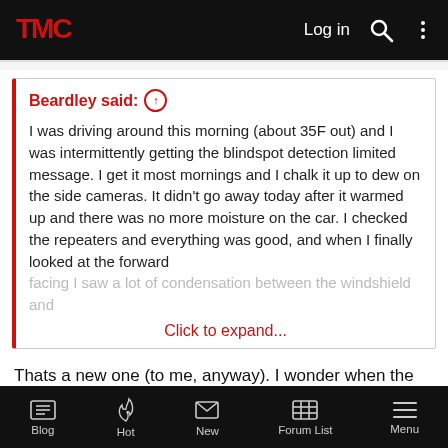TMC  Log in  [search] [menu]
Beardley said: ↑

I was driving around this morning (about 35F out) and I was intermittently getting the blindspot detection limited message. I get it most mornings and I chalk it up to dew on the side cameras. It didn't go away today after it warmed up and there was no more moisture on the car. I checked the repeaters and everything was good, and when I finally looked at the forward facing I saw a lot of condensation between the windshield and

Click to expand...
Thats a new one (to me, anyway). I wonder when the defrost lines are supposed to kick in?
CharleyBC
Blog  Hot  New  Forum List  Menu